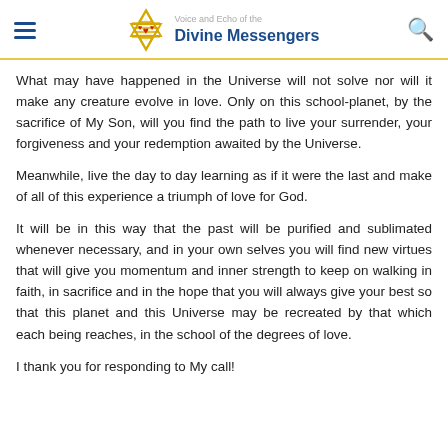Voice and Echo of the Divine Messengers
What may have happened in the Universe will not solve nor will it make any creature evolve in love. Only on this school-planet, by the sacrifice of My Son, will you find the path to live your surrender, your forgiveness and your redemption awaited by the Universe.
Meanwhile, live the day to day learning as if it were the last and make of all of this experience a triumph of love for God.
It will be in this way that the past will be purified and sublimated whenever necessary, and in your own selves you will find new virtues that will give you momentum and inner strength to keep on walking in faith, in sacrifice and in the hope that you will always give your best so that this planet and this Universe may be recreated by that which each being reaches, in the school of the degrees of love.
I thank you for responding to My call!